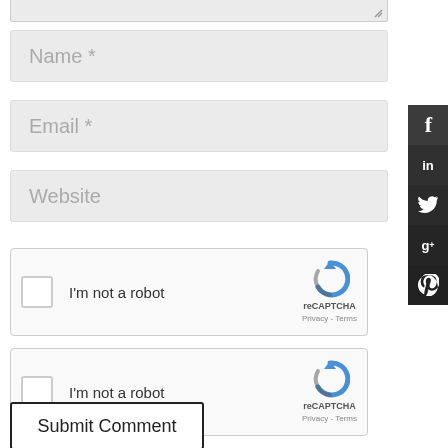[Figure (screenshot): Partial textarea input field at top of page with resize handle]
Name *
Email *
Website
[Figure (other): reCAPTCHA widget with checkbox 'I'm not a robot', reCAPTCHA logo, Privacy - Terms]
[Figure (other): reCAPTCHA widget with checkbox 'I'm not a robot', reCAPTCHA logo, Privacy - Terms]
Submit Comment
[Figure (other): Social media sidebar with Facebook, LinkedIn, Twitter, Google+, Pinterest icons]